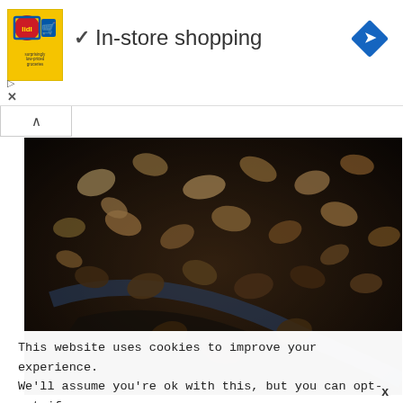[Figure (screenshot): Lidl advertisement banner with yellow background and Lidl logo with a shopping bag character]
✓ In-store shopping
[Figure (photo): Close-up photo of mixed nuts (cashews, pistachios, peanuts) in a dark tray]
This website uses cookies to improve your experience. We'll assume you're ok with this, but you can opt-out if